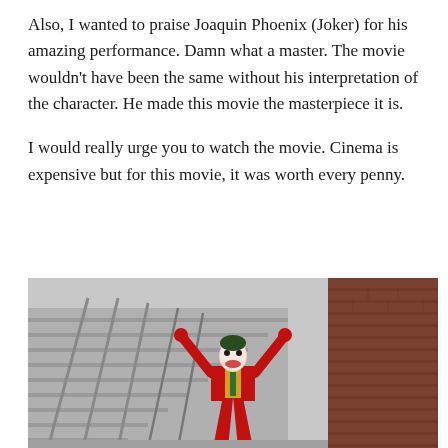Also, I wanted to praise Joaquin Phoenix (Joker) for his amazing performance. Damn what a master. The movie wouldn't have been the same without his interpretation of the character. He made this movie the masterpiece it is.

I would really urge you to watch the movie. Cinema is expensive but for this movie, it was worth every penny.
[Figure (photo): Joaquin Phoenix as the Joker in a red suit, dancing triumphantly on outdoor stairs with arms raised, brick wall to the right and staircase railings to the left.]